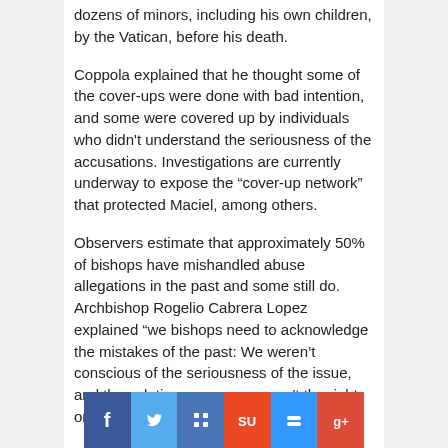dozens of minors, including his own children, by the Vatican, before his death.
Coppola explained that he thought some of the cover-ups were done with bad intention, and some were covered up by individuals who didn't understand the seriousness of the accusations. Investigations are currently underway to expose the “cover-up network” that protected Maciel, among others.
Observers estimate that approximately 50% of bishops have mishandled abuse allegations in the past and some still do. Archbishop Rogelio Cabrera Lopez explained “we bishops need to acknowledge the mistakes of the past: We weren’t conscious of the seriousness of the issue, and the solutions we gave weren't the right ones,” at a conference organized by the
[Figure (infographic): Social sharing bar with icons for Facebook, Twitter, a sharing icon, StumbleUpon, Delicious, and Google+]